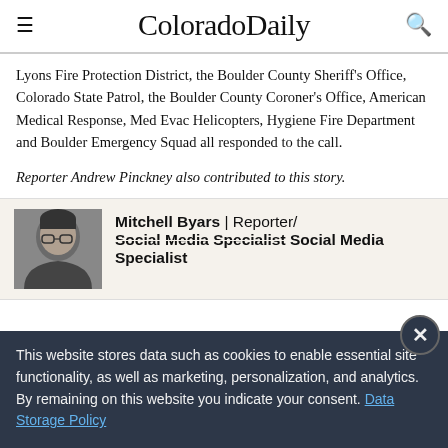ColoradoDaily
Lyons Fire Protection District, the Boulder County Sheriff's Office, Colorado State Patrol, the Boulder County Coroner's Office, American Medical Response, Med Evac Helicopters, Hygiene Fire Department and Boulder Emergency Squad all responded to the call.
Reporter Andrew Pinckney also contributed to this story.
[Figure (photo): Headshot of Mitchell Byars, a man wearing glasses]
Mitchell Byars | Reporter/ Social Media Specialist
This website stores data such as cookies to enable essential site functionality, as well as marketing, personalization, and analytics. By remaining on this website you indicate your consent. Data Storage Policy